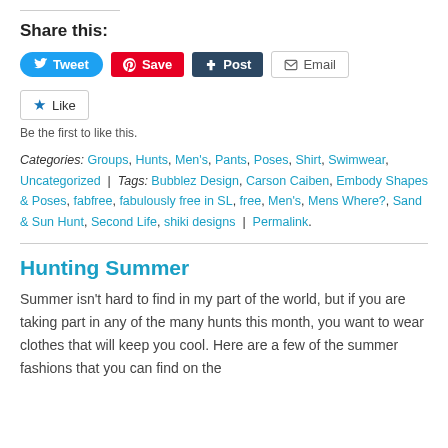Share this:
[Figure (infographic): Social share buttons: Tweet (blue, Twitter bird icon), Save (red, Pinterest icon), Post (dark blue, Tumblr t icon), Email (white/grey, envelope icon)]
[Figure (infographic): Like button with blue star icon and 'Like' text]
Be the first to like this.
Categories: Groups, Hunts, Men's, Pants, Poses, Shirt, Swimwear, Uncategorized | Tags: Bubblez Design, Carson Caiben, Embody Shapes & Poses, fabfree, fabulously free in SL, free, Men's, Mens Where?, Sand & Sun Hunt, Second Life, shiki designs | Permalink.
Hunting Summer
Summer isn’t hard to find in my part of the world, but if you are taking part in any of the many hunts this month, you want to wear clothes that will keep you cool. Here are a few of the summer fashions that you can find on the